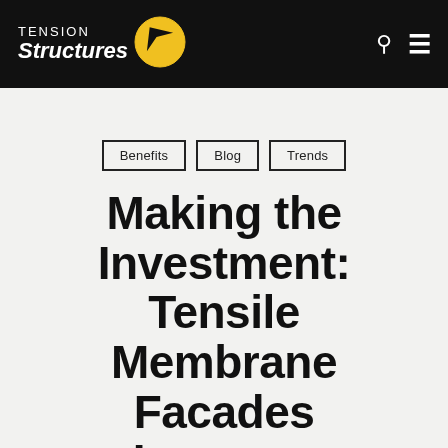Tension Structures
Benefits
Blog
Trends
Making the Investment: Tensile Membrane Facades Increase